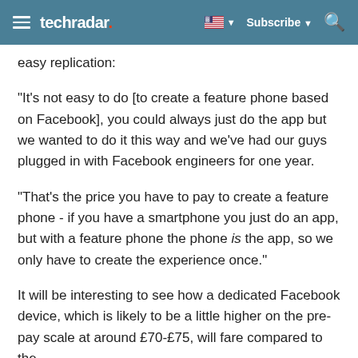techradar | Subscribe
easy replication:
"It's not easy to do [to create a feature phone based on Facebook], you could always just do the app but we wanted to do it this way and we've had our guys plugged in with Facebook engineers for one year.
"That's the price you have to pay to create a feature phone - if you have a smartphone you just do an app, but with a feature phone the phone is the app, so we only have to create the experience once."
It will be interesting to see how a dedicated Facebook device, which is likely to be a little higher on the pre-pay scale at around £70-£75, will fare compared to the